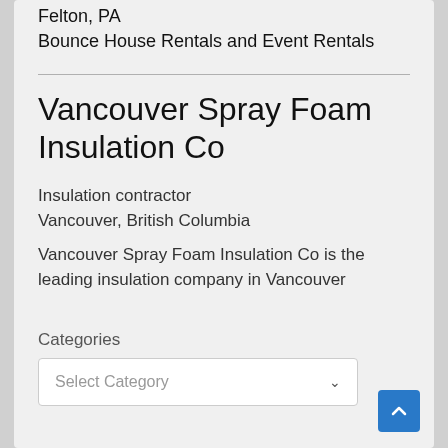Felton, PA
Bounce House Rentals and Event Rentals
Vancouver Spray Foam Insulation Co
Insulation contractor
Vancouver, British Columbia
Vancouver Spray Foam Insulation Co is the leading insulation company in Vancouver
Categories
Select Category